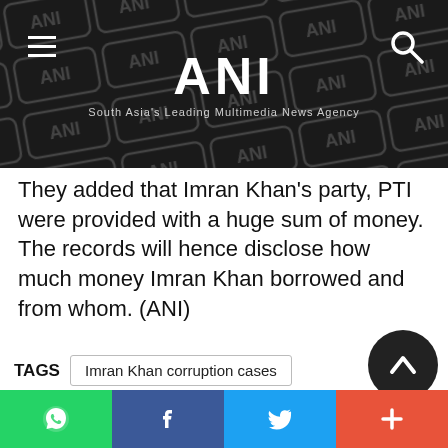ANI — South Asia's Leading Multimedia News Agency
They added that Imran Khan's party, PTI were provided with a huge sum of money. The records will hence disclose how much money Imran Khan borrowed and from whom. (ANI)
TAGS  Imran Khan corruption cases  Khyber Pakhtunkhwa resources  NAB anti-corruption bureau  Sabia registers complain against Imran
Share buttons: WhatsApp, Facebook, Twitter, More